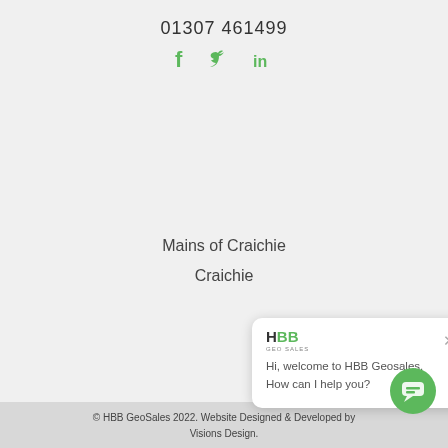01307 461499
[Figure (illustration): Social media icons: Facebook, Twitter, LinkedIn in green]
Mains of Craichie
Craichie
[Figure (screenshot): HBB Geosales chat widget popup with message: Hi, welcome to HBB Geosales. How can I help you?]
© HBB GeoSales 2022. Website Designed & Developed by Visions Design.